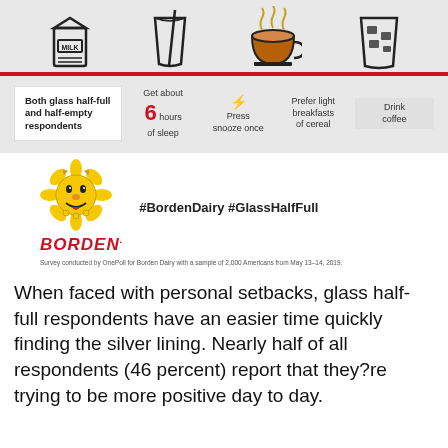[Figure (infographic): Infographic showing icons: milk carton, glass with straw, coffee cup with steam, iced drink glass, above a red horizontal rule]
Both glass half-full and half-empty respondents | Get about 6 hours of sleep | Press snooze once | Prefer light breakfasts of cereal | Drink coffee
[Figure (logo): Borden Dairy logo: cartoon cow mascot with sunflower, BORDEN in red italic letters]
#BordenDairy #GlassHalfFull
Survey conducted by OnePoll for Borden Dairy with a sample of 2,000 Americans from May 13-14, 2019.
When faced with personal setbacks, glass half-full respondents have an easier time quickly finding the silver lining. Nearly half of all respondents (46 percent) report that they?re trying to be more positive day to day.